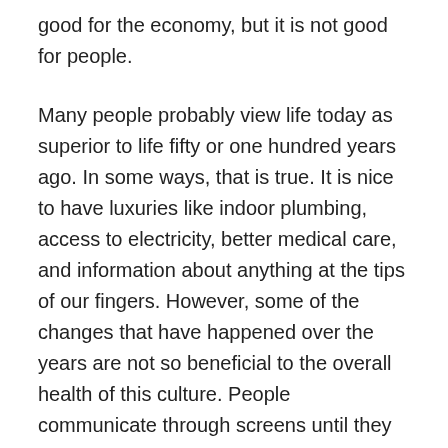good for the economy, but it is not good for people.
Many people probably view life today as superior to life fifty or one hundred years ago. In some ways, that is true. It is nice to have luxuries like indoor plumbing, access to electricity, better medical care, and information about anything at the tips of our fingers. However, some of the changes that have happened over the years are not so beneficial to the overall health of this culture. People communicate through screens until they feel awkward saying really feeling face to face with other people. There is now a mentality that one should do as little as possible to get the most benefits. Convenience is valued over hard work and getting the job done well. Money drives companies to sacrifice quality in their products for the sake of efficiency and financial growth. People feel entitled to good things, to luxuries. They deserve whatever it is that they want. They